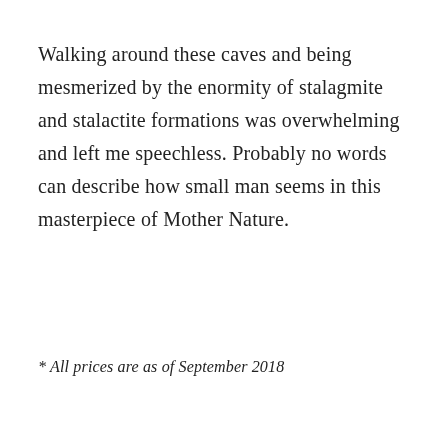Walking around these caves and being mesmerized by the enormity of stalagmite and stalactite formations was overwhelming and left me speechless. Probably no words can describe how small man seems in this masterpiece of Mother Nature.
* All prices are as of September 2018